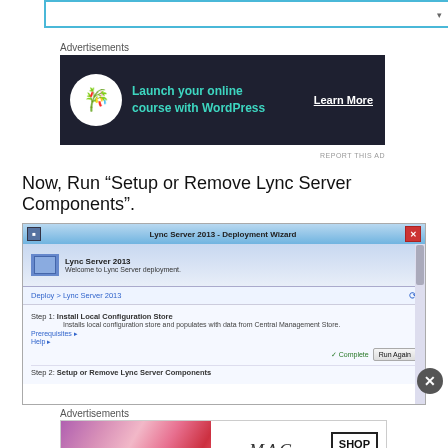[Figure (screenshot): Dropdown input field with blue border at top of page]
Advertisements
[Figure (screenshot): Advertisement banner: Launch your online course with WordPress - Learn More]
Now, Run “Setup or Remove Lync Server Components”.
[Figure (screenshot): Lync Server 2013 Deployment Wizard screenshot showing Step 1: Install Local Configuration Store (Complete) and Step 2: Setup or Remove Lync Server Components]
Advertisements
[Figure (screenshot): MAC cosmetics advertisement with lipstick products and Shop Now button]